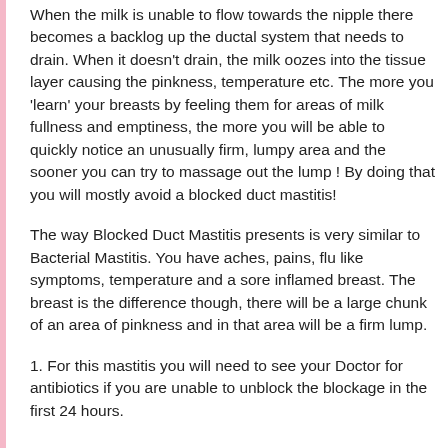When the milk is unable to flow towards the nipple there becomes a backlog up the ductal system that needs to drain. When it doesn't drain, the milk oozes into the tissue layer causing the pinkness, temperature etc. The more you 'learn' your breasts by feeling them for areas of milk fullness and emptiness, the more you will be able to quickly notice an unusually firm, lumpy area and the sooner you can try to massage out the lump ! By doing that you will mostly avoid a blocked duct mastitis!
The way Blocked Duct Mastitis presents is very similar to Bacterial Mastitis. You have aches, pains, flu like symptoms, temperature and a sore inflamed breast. The breast is the difference though, there will be a large chunk of an area of pinkness and in that area will be a firm lump.
1. For this mastitis you will need to see your Doctor for antibiotics if you are unable to unblock the blockage in the first 24 hours.